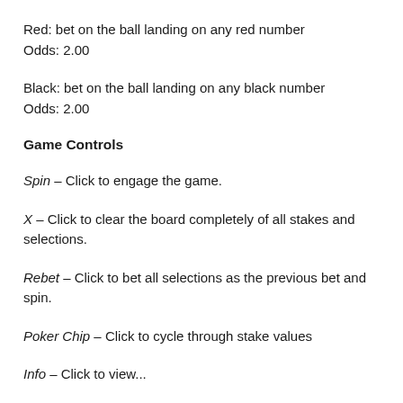Red: bet on the ball landing on any red number
Odds: 2.00
Black: bet on the ball landing on any black number
Odds: 2.00
Game Controls
Spin – Click to engage the game.
X – Click to clear the board completely of all stakes and selections.
Rebet – Click to bet all selections as the previous bet and spin.
Poker Chip – Click to cycle through stake values
Info – Click to view...